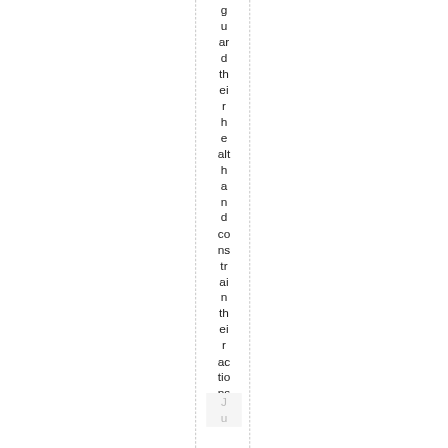guard their health and constrain their actions.
Ju